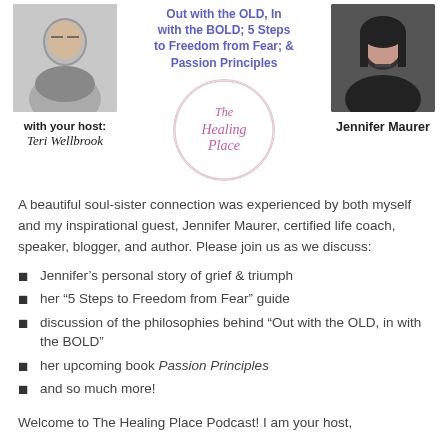[Figure (photo): Photo of host Teri Wellbrook]
[Figure (illustration): Book title text: Out with the OLD, In with the BOLD; 5 Steps to Freedom from Fear; & Passion Principles]
[Figure (photo): Photo of guest Jennifer Maurer]
with your host:
Teri Wellbrook
[Figure (logo): The Healing Place podcast logo circle]
Jennifer Maurer
A beautiful soul-sister connection was experienced by both myself and my inspirational guest, Jennifer Maurer, certified life coach, speaker, blogger, and author. Please join us as we discuss:
Jennifer’s personal story of grief & triumph
her “5 Steps to Freedom from Fear” guide
discussion of the philosophies behind “Out with the OLD, in with the BOLD”
her upcoming book Passion Principles
and so much more!
Welcome to The Healing Place Podcast! I am your host,